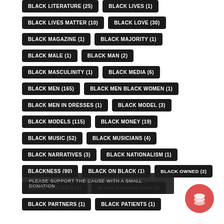BLACK LITERATURE (25)
BLACK LIVES (1)
BLACK LIVES MATTER (10)
BLACK LOVE (30)
BLACK MAGAZINE (1)
BLACK MAJORITY (1)
BLACK MALE (1)
BLACK MAN (2)
BLACK MASCULINITY (1)
BLACK MEDIA (6)
BLACK MEN (165)
BLACK MEN BLACK WOMEN (1)
BLACK MEN IN DRESSES (1)
BLACK MODEL (3)
BLACK MODELS (115)
BLACK MONEY (19)
BLACK MUSIC (52)
BLACK MUSICIANS (4)
BLACK NARRATIVES (3)
BLACK NATIONALISM (1)
BLACKNESS (90)
BLACK ON BLACK (1)
BLACK OWNED (2)
BLACK PANTHER (1)
BLACK PANTHER FANS (2)
BLACK PARTNERS (1)
BLACK PATIENTS (1)
PLEASE SUPPORT THE CAUSE WITH A SMALL DONATION